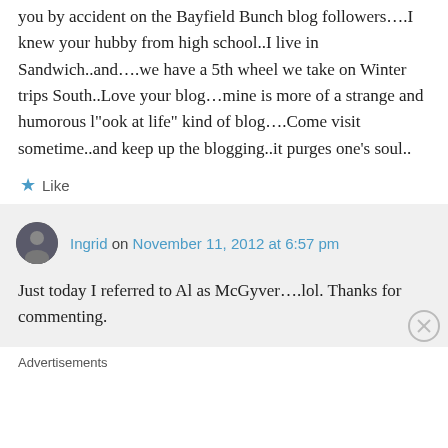you by accident on the Bayfield Bunch blog followers….I knew your hubby from high school..I live in Sandwich..and….we have a 5th wheel we take on Winter trips South..Love your blog…mine is more of a strange and humorous l"ook at life" kind of blog….Come visit sometime..and keep up the blogging..it purges one's soul..
Like
Ingrid on November 11, 2012 at 6:57 pm
Just today I referred to Al as McGyver….lol. Thanks for commenting.
Advertisements